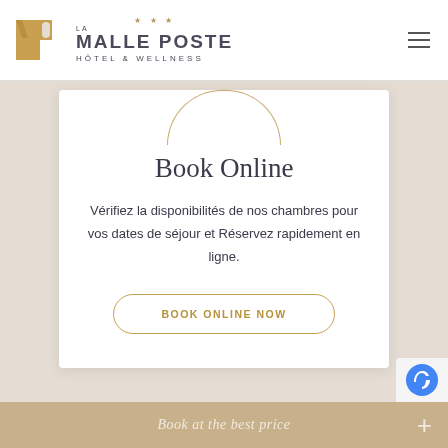[Figure (logo): La Malle Poste Hôtel & Wellness logo with golden MP monogram and three stars]
Book Online
Vérifiez la disponibilités de nos chambres pour vos dates de séjour et Réservez rapidement en ligne.
BOOK ONLINE NOW
Book at the best price